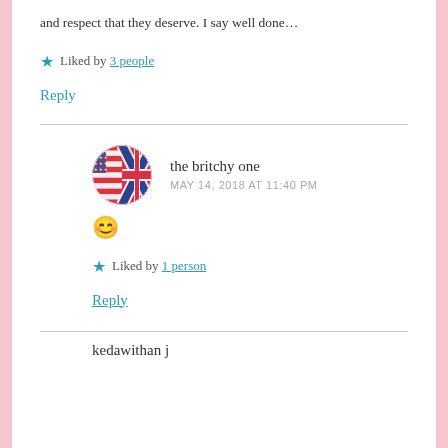and respect that they deserve. I say well done…
Liked by 3 people
Reply
the britchy one
MAY 14, 2018 AT 11:40 PM
😊
Liked by 1 person
Reply
kedawithan j